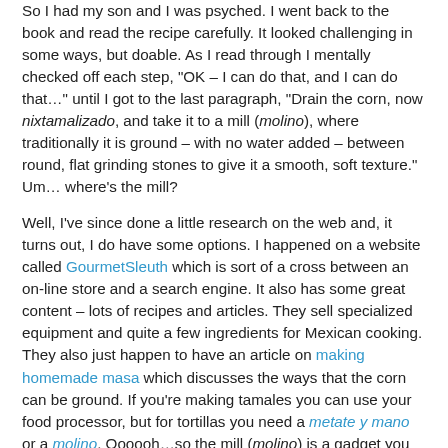So I had my son and I was psyched. I went back to the book and read the recipe carefully. It looked challenging in some ways, but doable. As I read through I mentally checked off each step, "OK – I can do that, and I can do that…" until I got to the last paragraph, "Drain the corn, now nixtamalizado, and take it to a mill (molino), where traditionally it is ground – with no water added – between round, flat grinding stones to give it a smooth, soft texture." Um… where's the mill?
Well, I've since done a little research on the web and, it turns out, I do have some options. I happened on a website called GourmetSleuth which is sort of a cross between an on-line store and a search engine. It also has some great content – lots of recipes and articles. They sell specialized equipment and quite a few ingredients for Mexican cooking. They also just happen to have an article on making homemade masa which discusses the ways that the corn can be ground. If you're making tamales you can use your food processor, but for tortillas you need a metate y mano or a molino. Oooooh…so the mill (molino) is a gadget you clamp onto your counter rather than a place where you take your corn.